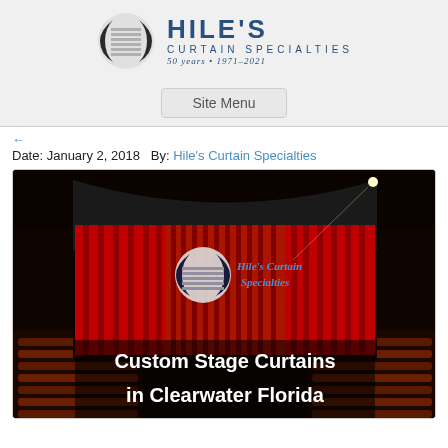[Figure (logo): Hile's Curtain Specialties logo with circular K emblem and company name, '50 years • 1971-2021']
Site Menu
Date: January 2, 2018   By: Hile's Curtain Specialties
[Figure (photo): Theater interior with red stage curtains illuminated by spotlight, Hile's Curtain Specialties logo overlaid, and text 'Custom Stage Curtains in Clearwater Florida']